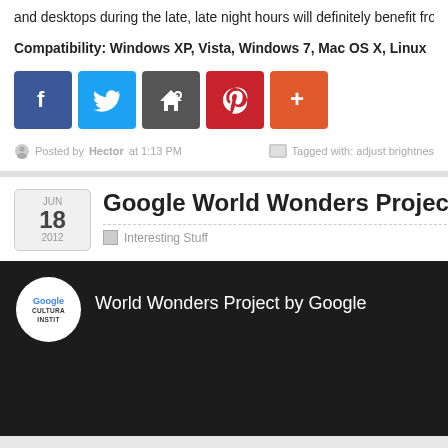and desktops during the late, late night hours will definitely benefit fro
Compatibility: Windows XP, Vista, Windows 7, Mac OS X, Linux
[Figure (infographic): Social sharing icons: Facebook (blue), Twitter (blue), Share (dark grey), Pinterest (red), More/Plus (orange-red)]
Posted by Hector at 1:13 PM   Tagged with: adjust brightnes
Google World Wonders Project
Interesting Stuff
[Figure (screenshot): Video thumbnail for 'World Wonders Project by Google' showing Google Cultural Institute logo on dark background with video title text]